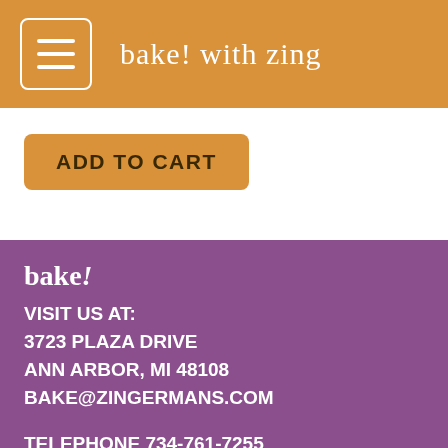bake! with zing
ADD TO CART
bake!
VISIT US AT:
3723 PLAZA DRIVE
ANN ARBOR, MI 48108
BAKE@ZINGERMANS.COM
TELEPHONE 734-761-7255
FAX 734-761-2190
7AM-5PM DAILY